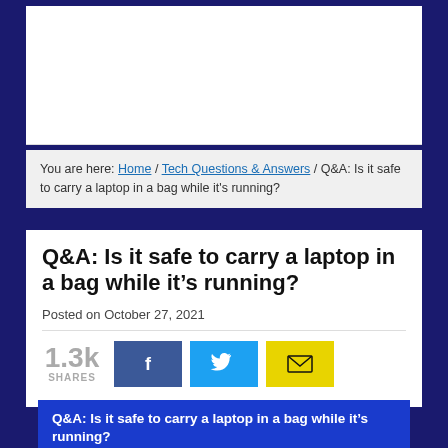You are here: Home / Tech Questions & Answers / Q&A: Is it safe to carry a laptop in a bag while it's running?
Q&A: Is it safe to carry a laptop in a bag while it's running?
Posted on October 27, 2021
1.3k SHARES
[Figure (screenshot): Social share buttons: Facebook (blue), Twitter (cyan), Email (yellow)]
Q&A: Is it safe to carry a laptop in a bag while it's running?